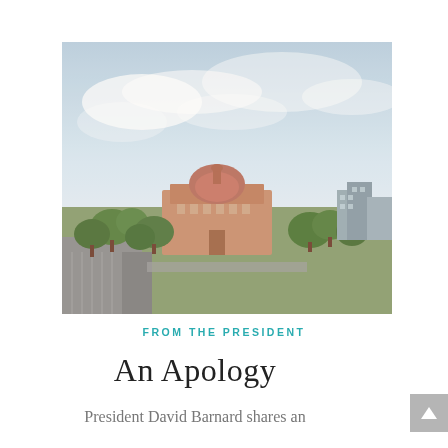[Figure (photo): Aerial/elevated view of a university campus with a prominent domed classical building (pinkish-terracotta colored) surrounded by trees, parking areas, and modern buildings in the background under a partly cloudy sky.]
FROM THE PRESIDENT
An Apology
President David Barnard shares an